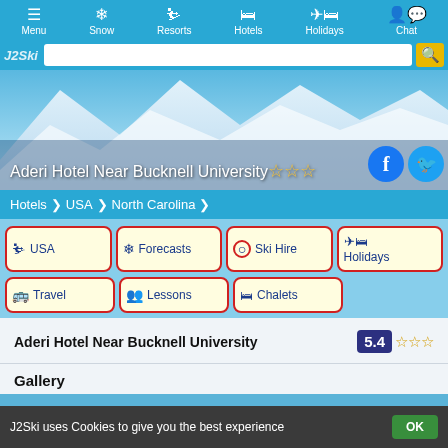Menu | Snow | Resorts | Hotels | Holidays | Chat
[Figure (screenshot): J2Ski website navigation bar with search box and logo]
[Figure (photo): Mountain snow scene hero image with Aderi Hotel Near Bucknell University title and star rating, and Facebook/Twitter social icons]
Aderi Hotel Near Bucknell University ☆☆☆
Hotels > USA > North Carolina
USA
Forecasts
Ski Hire
Holidays
Travel
Lessons
Chalets
Aderi Hotel Near Bucknell University
5.4 ☆☆☆
Gallery
J2Ski uses Cookies to give you the best experience  OK